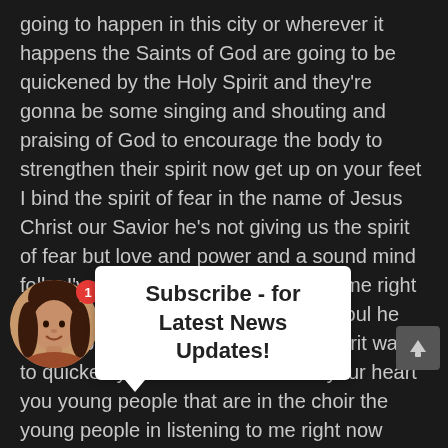going to happen in this city or wherever it happens the Saints of God are going to be quickened by the Holy Spirit and they're gonna be some singing and shouting and praising of God to encourage the body to strengthen their spirit now get up on your feet I bind the spirit of fear in the name of Jesus Christ our Savior he's not giving us the spirit of fear but love and power and a sound mind folks I've got the Holy Ghost all over me right now I have the Holy Spirit upon my soul he wants to come upon you the Holy Spirit wants to quicken you take the fear out of your heart you young people that are in the choir the young people in listening to me right now there is a future that the whole world thinks there's no future folks this is just the beginning of our future this is just the beginning of our future hallelujah I feel good they're going to listen to this tape tuned it out they turned away stayed and listened and people in this house half in there God asked you this afternoon or tomorrow next week what did partial day preach you
[Figure (photo): Circular profile photo of a young woman with dark hair, overlaid with a red notification badge showing '1']
Subscribe - for Latest News Updates!